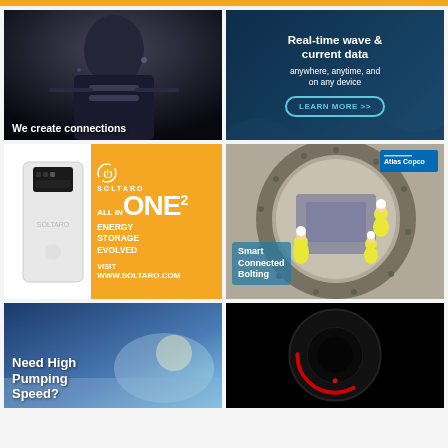[Figure (illustration): Dark dramatic advertisement showing an older man with cables/connectors. Text: 'We create connections']
[Figure (illustration): Dark blue advertisement for real-time wave and current data. Text: 'Real-time wave & current data anywhere, anytime, and on any device' with 'LEARN MORE >>' button]
[Figure (illustration): Soltaro ONE2 energy storage product advertisement on orange/white background. Text: 'SOLTARO ONE2 ALL IN', 'ENERGY STORAGE EVOLVED', 'VISIT WWW.SOLTARO.COM']
[Figure (illustration): Atlas Copco Smart Connected Bolting advertisement showing aerial view of workers inside industrial circular structure]
[Figure (illustration): Advertisement with blue sky/gradient background. Text: 'Need High Pumping Speed?']
[Figure (illustration): Dark black advertisement with circular red arc element, partially visible]